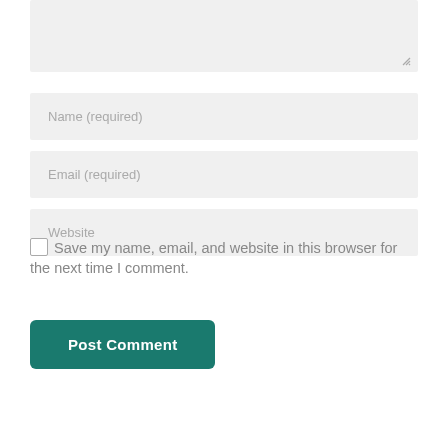[Figure (screenshot): Comment form textarea (partially visible at top) with resize handle in bottom-right corner]
Name (required)
Email (required)
Website
Save my name, email, and website in this browser for the next time I comment.
Post Comment